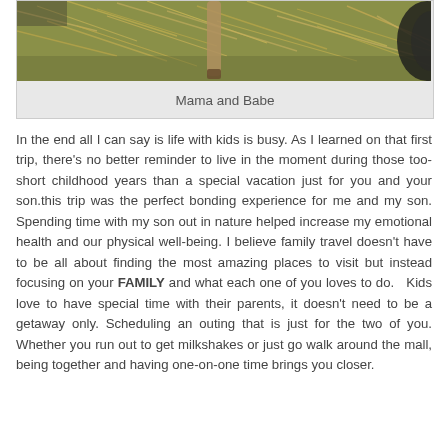[Figure (photo): Photo of mama and baby animal (goat or deer) lying in hay/straw, partially cropped at top]
Mama and Babe
In the end all I can say is life with kids is busy. As I learned on that first trip, there's no better reminder to live in the moment during those too-short childhood years than a special vacation just for you and your son.this trip was the perfect bonding experience for me and my son. Spending time with my son out in nature helped increase my emotional health and our physical well-being. I believe family travel doesn't have to be all about finding the most amazing places to visit but instead focusing on your FAMILY and what each one of you loves to do.  Kids love to have special time with their parents, it doesn't need to be a getaway only. Scheduling an outing that is just for the two of you. Whether you run out to get milkshakes or just go walk around the mall, being together and having one-on-one time brings you closer.